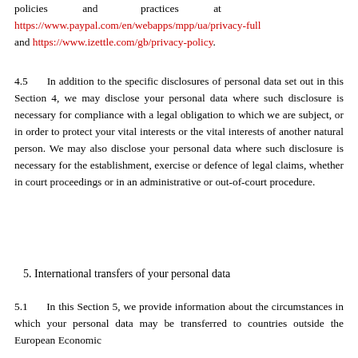policies and practices at https://www.paypal.com/en/webapps/mpp/ua/privacy-full and https://www.izettle.com/gb/privacy-policy.
4.5    In addition to the specific disclosures of personal data set out in this Section 4, we may disclose your personal data where such disclosure is necessary for compliance with a legal obligation to which we are subject, or in order to protect your vital interests or the vital interests of another natural person. We may also disclose your personal data where such disclosure is necessary for the establishment, exercise or defence of legal claims, whether in court proceedings or in an administrative or out-of-court procedure.
5. International transfers of your personal data
5.1    In this Section 5, we provide information about the circumstances in which your personal data may be transferred to countries outside the European Economic